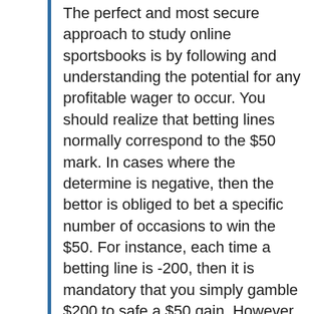The perfect and most secure approach to study online sportsbooks is by following and understanding the potential for any profitable wager to occur. You should realize that betting lines normally correspond to the $50 mark. In cases where the determine is negative, then the bettor is obliged to bet a specific number of occasions to win the $50. For instance, each time a betting line is -200, then it is mandatory that you simply gamble $200 to safe a $50 gain. However what if the betting line is constructive? (e.g. +one hundred fifty). Here the rule states that you will acquire a $a hundred and fifty profit for each $50 you bet. It simply means that you could make $50